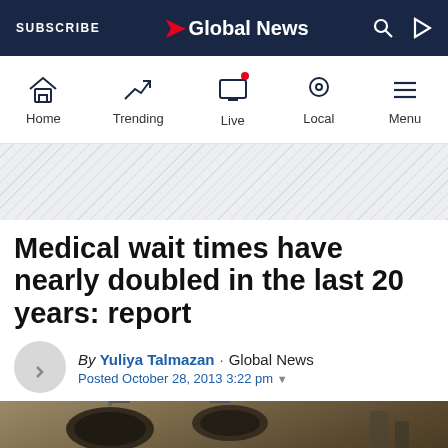SUBSCRIBE · Global News
[Figure (screenshot): Global News website navigation bar with Home, Trending, Live, Local, Menu icons]
[Figure (illustration): Diagonal stripe pattern banner area]
Medical wait times have nearly doubled in the last 20 years: report
By Yuliya Talmazan · Global News
Posted October 28, 2013 3:22 pm
[Figure (photo): Operating room with surgical lights overhead and medical equipment]